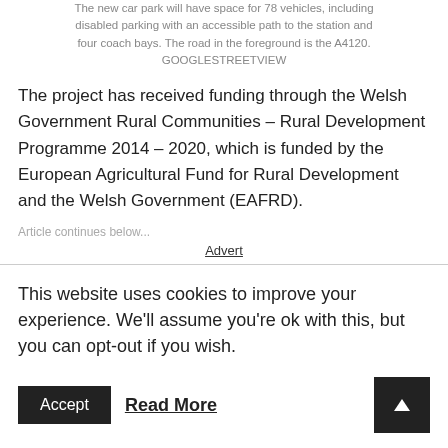The new car park will have space for 78 vehicles, including disabled parking with an accessible path to the station and four coach bays. The road in the foreground is the A4120. GOOGLESTREETVIEW
The project has received funding through the Welsh Government Rural Communities – Rural Development Programme 2014 – 2020, which is funded by the European Agricultural Fund for Rural Development and the Welsh Government (EAFRD).
Article continues below...
Advert
This website uses cookies to improve your experience. We'll assume you're ok with this, but you can opt-out if you wish.
Accept  Read More